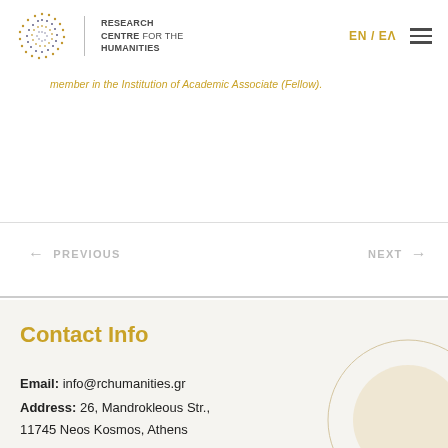[Figure (logo): Research Centre for the Humanities logo with circular dot pattern and text]
EN / EA
member in the Institution of Academic Associate (Fellow).
← PREVIOUS
NEXT →
Contact Info
Email: info@rchumanities.gr
Address: 26, Mandrokleous Str.,
11745 Neos Kosmos, Athens